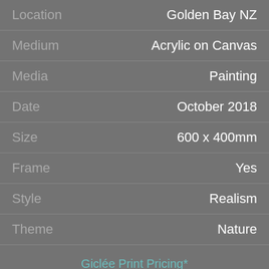| Attribute | Value |
| --- | --- |
| Location | Golden Bay NZ |
| Medium | Acrylic on Canvas |
| Media | Painting |
| Date | October 2018 |
| Size | 600 x 400mm |
| Frame | Yes |
| Style | Realism |
| Theme | Nature |
Giclée Print Pricing*
Small Size
450 x 305mm